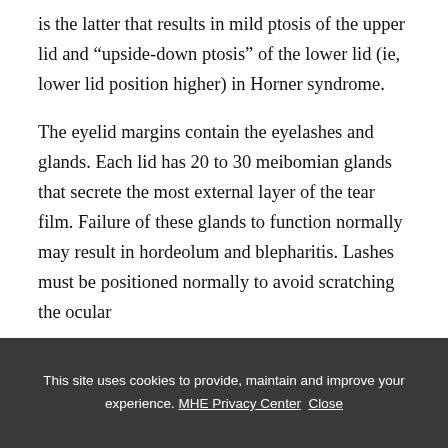is the latter that results in mild ptosis of the upper lid and “upside-down ptosis” of the lower lid (ie, lower lid position higher) in Horner syndrome.
The eyelid margins contain the eyelashes and glands. Each lid has 20 to 30 meibomian glands that secrete the most external layer of the tear film. Failure of these glands to function normally may result in hordeolum and blepharitis. Lashes must be positioned normally to avoid scratching the ocular
This site uses cookies to provide, maintain and improve your experience. MHE Privacy Center  Close